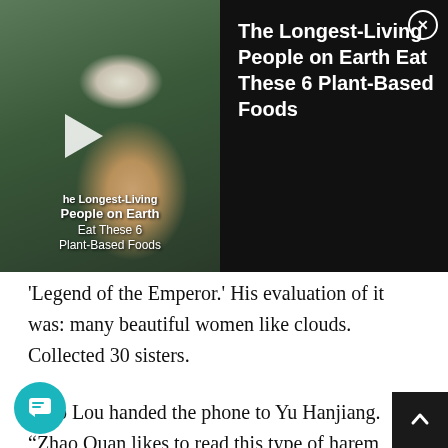[Figure (screenshot): Video advertisement overlay showing an elderly woman and title 'The Longest-Living People on Earth Eat These 6 Plant-Based Foods' with a play button on the left thumbnail and text title on the right black panel with close X button]
'Legend of the Emperor.' His evaluation of it was: many beautiful women like clouds. Collected 30 sisters.
Xiao Lou handed the phone to Yu Hanjiang. “Zhao Quan likes to read this type of harem stallion text.”
Yu Hanjiang didn’t read novels and hadn’t heard about the ‘stallion culture’. He heard Xiao Lou’s words and looked at the phone, asking, “Harem stallion text? Does this mean like the ancient emperor who received many concubines and many wives?”